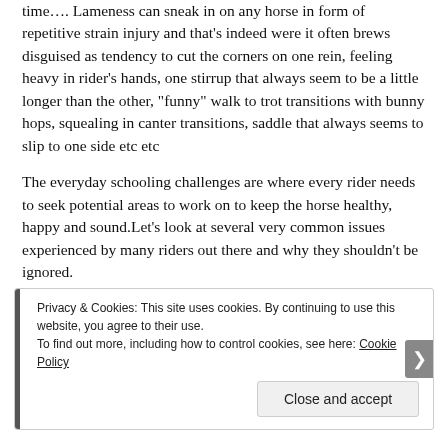time…. Lameness can sneak in on any horse in form of repetitive strain injury and that's indeed were it often brews disguised as tendency to cut the corners on one rein, feeling heavy in rider's hands, one stirrup that always seem to be a little longer than the other, "funny" walk to trot transitions with bunny hops, squealing in canter transitions, saddle that always seems to slip to one side etc etc
The everyday schooling challenges are where every rider needs to seek potential areas to work on to keep the horse healthy, happy and sound.Let's look at several very common issues experienced by many riders out there and why they shouldn't be ignored.
Privacy & Cookies: This site uses cookies. By continuing to use this website, you agree to their use.
To find out more, including how to control cookies, see here: Cookie Policy
Close and accept